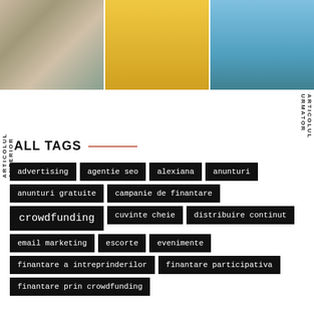[Figure (photo): Three images side by side: a person working at a design/computer station with color swatches, a runner in black athletic wear on yellow background, and a person on a sailboat with arms raised over ocean]
ARTICOLUL ANTERIOR
ARTICOLUL URMATOR
ALL TAGS
advertising
agentie seo
alexiana
anunturi
anunturi gratuite
campanie de finantare
crowdfunding
cuvinte cheie
distribuire continut
email marketing
escorte
evenimente
finantare a intreprinderilor
finantare participativa
finantare prin crowdfunding